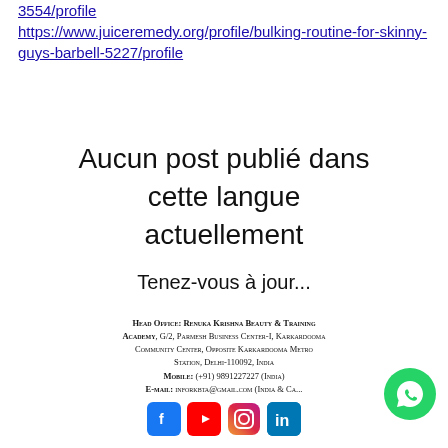https://www.juiceremedy.org/profile/...3554/profile
https://www.juiceremedy.org/profile/bulking-routine-for-skinny-guys-barbell-5227/profile
Aucun post publié dans cette langue actuellement

Tenez-vous à jour...
Head Office: Renuka Krishna Beauty & Training Academy, G/2, Parmesh Business Center-I, Karkardooma Community Center, Opposite Karkardooma Metro Station, Delhi-110092, India
Mobile: (+91) 9891227227 (India)
E-mail: inforkbta@gmail.com (India & Ca...)